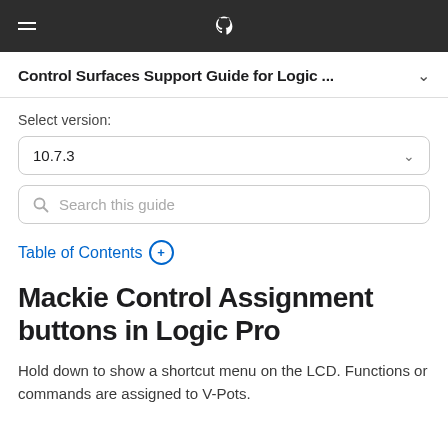Control Surfaces Support Guide for Logic ... (navigation bar with Apple logo and hamburger menu)
Control Surfaces Support Guide for Logic ...
Select version:
10.7.3
Search this guide
Table of Contents +
Mackie Control Assignment buttons in Logic Pro
Hold down to show a shortcut menu on the LCD. Functions or commands are assigned to V-Pots.